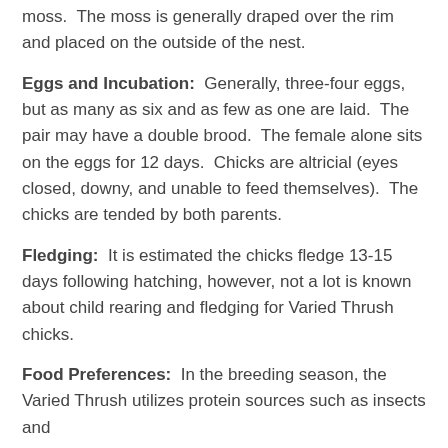moss.  The moss is generally draped over the rim and placed on the outside of the nest.
Eggs and Incubation:  Generally, three-four eggs, but as many as six and as few as one are laid.  The pair may have a double brood.  The female alone sits on the eggs for 12 days.  Chicks are altricial (eyes closed, downy, and unable to feed themselves).  The chicks are tended by both parents.
Fledging:  It is estimated the chicks fledge 13-15 days following hatching, however, not a lot is known about child rearing and fledging for Varied Thrush chicks.
Food Preferences:  In the breeding season, the Varied Thrush utilizes protein sources such as insects and